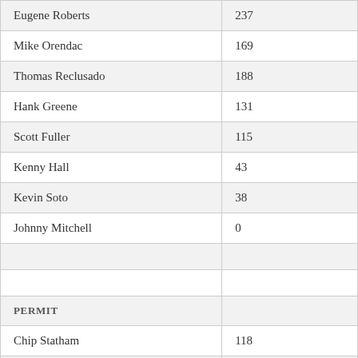| Eugene Roberts | 237 |
| Mike Orendac | 169 |
| Thomas Reclusado | 188 |
| Hank Greene | 131 |
| Scott Fuller | 115 |
| Kenny Hall | 43 |
| Kevin Soto | 38 |
| Johnny Mitchell | 0 |
|  |  |
|  |  |
| PERMIT |  |
| Chip Statham | 118 |
| Yank Worthington | 104 |
| Dan Baca | 59 |